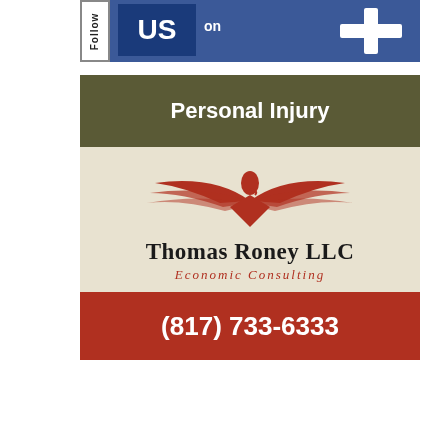[Figure (logo): Follow us on Facebook banner with blue background, 'Follow' text rotated vertically, 'US' in dark blue box, 'on' text, and Facebook cross/plus icon]
[Figure (logo): Thomas Roney LLC Economic Consulting advertisement with olive green header reading 'Personal Injury', eagle logo in cream section, company name 'Thomas Roney LLC' and 'Economic Consulting' tagline, and red footer with phone number (817) 733-6333]